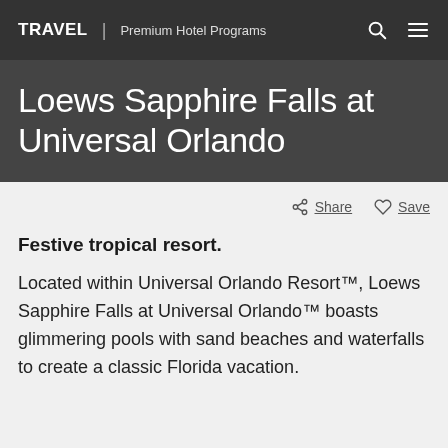TRAVEL | Premium Hotel Programs
Loews Sapphire Falls at Universal Orlando
Share   Save
Festive tropical resort.
Located within Universal Orlando Resort™, Loews Sapphire Falls at Universal Orlando™ boasts glimmering pools with sand beaches and waterfalls to create a classic Florida vacation.